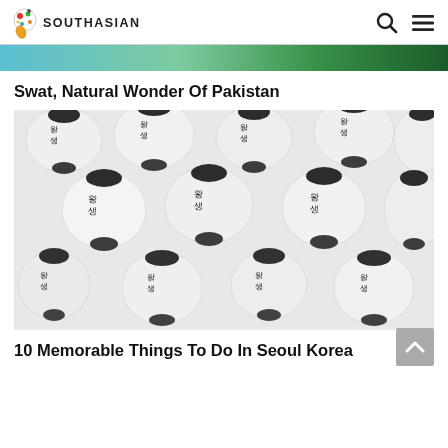SOUTHASIAN
[Figure (photo): Top banner image strip showing green and teal nature scenery]
Swat, Natural Wonder Of Pakistan
[Figure (photo): Korean paper lanterns with Korean text (왕생) in black ink hanging from ceiling, white and black lanterns filling entire frame]
10 Memorable Things To Do In Seoul Korea